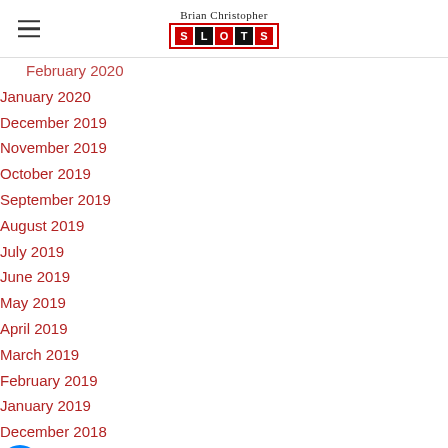Brian Christopher SLOTS
February 2020
January 2020
December 2019
November 2019
October 2019
September 2019
August 2019
July 2019
June 2019
May 2019
April 2019
March 2019
February 2019
January 2019
December 2018
November 2018
October 2018
September 2018